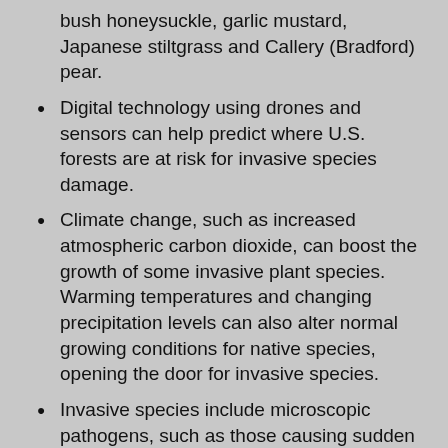bush honeysuckle, garlic mustard, Japanese stiltgrass and Callery (Bradford) pear.
Digital technology using drones and sensors can help predict where U.S. forests are at risk for invasive species damage.
Climate change, such as increased atmospheric carbon dioxide, can boost the growth of some invasive plant species. Warming temperatures and changing precipitation levels can also alter normal growing conditions for native species, opening the door for invasive species.
Invasive species include microscopic pathogens, such as those causing sudden oak death.
See Purdue Agriculture's comprehensive site for invasive species information.
You can make a difference! See "What can I do?" above.